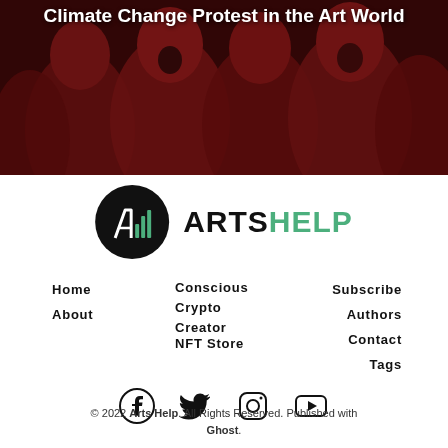[Figure (photo): People dressed in red robes/cloaks as a climate change protest art installation, partially visible at top of page, with white overlaid title text]
Climate Change Protest in the Art World
[Figure (logo): ArtsHelp logo: black circle with stylized AH bar-chart icon, followed by ARTSHELP text where ARTS is black and HELP is green]
Home
About
Conscious
Crypto
Creator
NFT Store
Subscribe
Authors
Contact
Tags
[Figure (infographic): Social media icons row: Facebook, Twitter, Instagram, YouTube]
© 2022 Arts Help. All Rights Reserved. Published with Ghost.